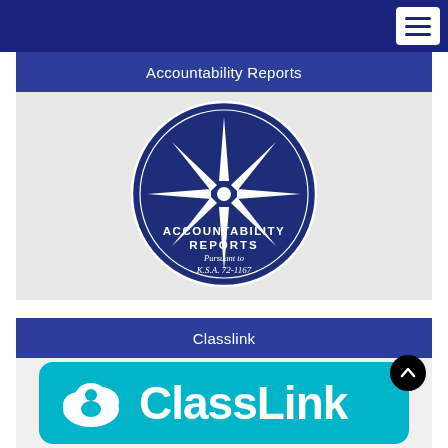Navigation menu (hamburger)
Accountability Reports
[Figure (logo): Circular dark navy badge with a starburst/compass star in the center and the text 'ACCOUNTABILITY REPORTS Pursuant to K.S.A. 72-1167' in white lettering]
Classlink
[Figure (logo): ClassLink logo: teal/cyan rounded rectangle with a white cloud icon containing a person figure and the text 'ClassLink' in bold white letters]